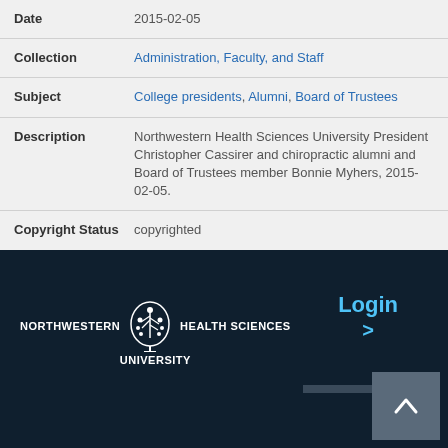| Field | Value |
| --- | --- |
| Date | 2015-02-05 |
| Collection | Administration, Faculty, and Staff |
| Subject | College presidents, Alumni, Board of Trustees |
| Description | Northwestern Health Sciences University President Christopher Cassirer and chiropractic alumni and Board of Trustees member Bonnie Myhers, 2015-02-05. |
| Copyright Status | copyrighted |
[Figure (logo): Northwestern Health Sciences University logo with tree emblem in white on dark navy background, with Login link]
[Figure (other): Back to top button with upward chevron arrow in grey on dark navy footer]